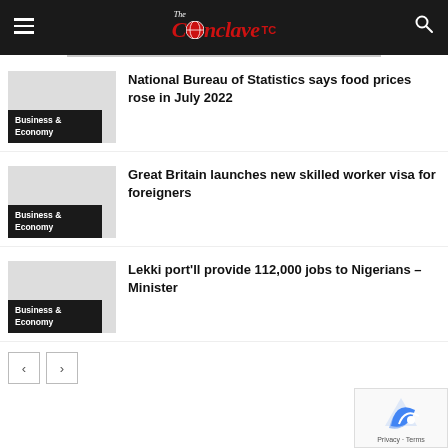The Conclave TC
National Bureau of Statistics says food prices rose in July 2022
Great Britain launches new skilled worker visa for foreigners
Lekki port'll provide 112,000 jobs to Nigerians – Minister